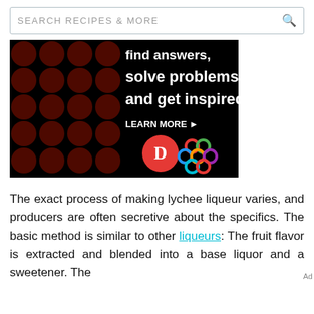SEARCH RECIPES & MORE
[Figure (screenshot): Dark advertisement banner with white bold text reading 'find answers, solve problems and get inspired.' with a red period, a 'LEARN MORE' button with arrow, a red circular logo with a white 'D', and a colorful interlocking circles logo on a black background with dark red polka dot pattern.]
The exact process of making lychee liqueur varies, and producers are often secretive about the specifics. The basic method is similar to other liqueurs: The fruit flavor is extracted and blended into a base liquor and a sweetener. The